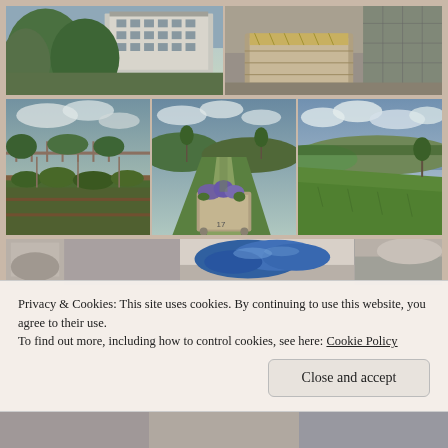[Figure (photo): Two-row photo grid of outdoor community garden scenes in Scotland. Top row: left photo shows a block of flats with trees and a vegetable plot; right photo shows a wooden raised bed structure with gabion wall. Middle row: left photo shows raised vegetable beds with fencing; center photo shows a path with planting beds and a raised wooden container with purple flowers numbered 17; right photo shows a grassy hillside with distant water view.]
[Figure (photo): Partially visible bottom photos: center photo shows blue bags/tarpaulin; left and right edges show partial views of other photos.]
Privacy & Cookies: This site uses cookies. By continuing to use this website, you agree to their use.
To find out more, including how to control cookies, see here: Cookie Policy
Close and accept